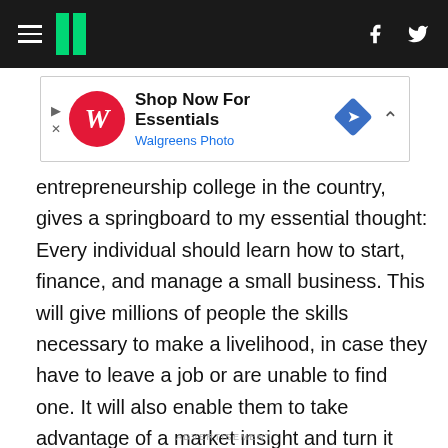HuffPost navigation bar with hamburger menu, logo, Facebook and Twitter icons
[Figure (screenshot): Walgreens Photo advertisement banner: Shop Now For Essentials, Walgreens Photo, with Walgreens W logo and blue diamond arrow icon]
entrepreneurship college in the country, gives a springboard to my essential thought: Every individual should learn how to start, finance, and manage a small business. This will give millions of people the skills necessary to make a livelihood, in case they have to leave a job or are unable to find one. It will also enable them to take advantage of a market insight and turn it into a business opportunity. Also, they will become better employees through understanding how business functions.
ADVERTISEMENT